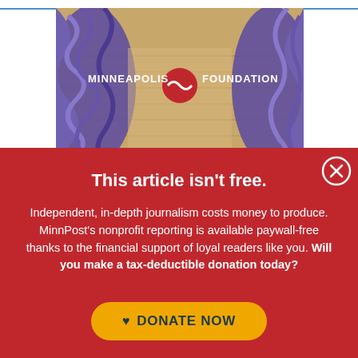[Figure (photo): Minneapolis Foundation banner/advertisement with purple braided decorative art and the text 'MINNEAPOLIS FOUNDATION' with a logo in the center on a partially wooden background.]
This article isn't free.
Independent, in-depth journalism costs money to produce. MinnPost's nonprofit reporting is available paywall-free thanks to the financial support of loyal readers like you. Will you make a tax-deductible donation today?
DONATE NOW